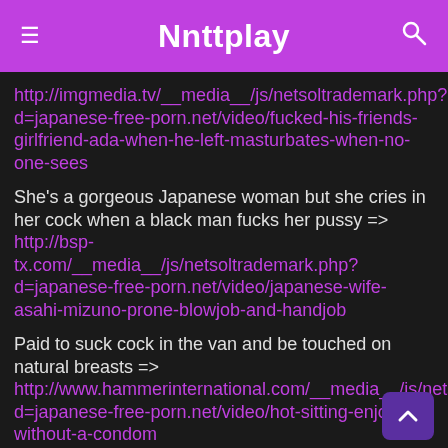Nnttplay
http://imgmedia.tv/__media__/js/netsoltrademark.php?d=japanese-free-porn.net/video/fucked-his-friends-girlfriend-ada-when-he-left-masturbates-when-no-one-sees
She's a gorgeous Japanese woman but she cries in her cock when a black man fucks her pussy => http://bsp-tx.com/__media__/js/netsoltrademark.php?d=japanese-free-porn.net/video/japanese-wife-asahi-mizuno-prone-blowjob-and-handjob
Paid to suck cock in the van and be touched on natural breasts => http://www.hammerinternational.com/__media__/js/netsoltrademark.php?d=japanese-free-porn.net/video/hot-sitting-enjoying-without-a-condom
Filipina Who Passes To The Cock After Rubbing Her LilNdic => http://www.massageresort.net/__media__/js/netsoltrademark.php?d=japanese-free-porn.net/video/...